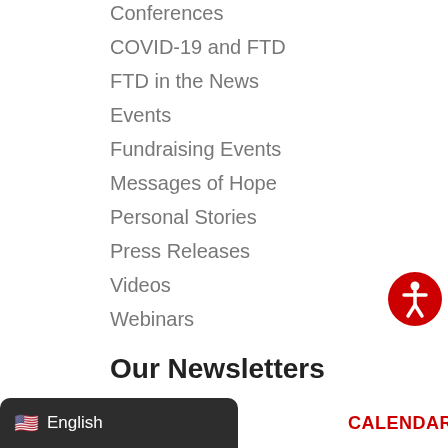Conferences
COVID-19 and FTD
FTD in the News
Events
Fundraising Events
Messages of Hope
Personal Stories
Press Releases
Videos
Webinars
Our Newsletters
AFTD News
Help & Hope
Partners in FTD Care
[Figure (illustration): Red circular accessibility icon with white person figure]
English
CALENDAR